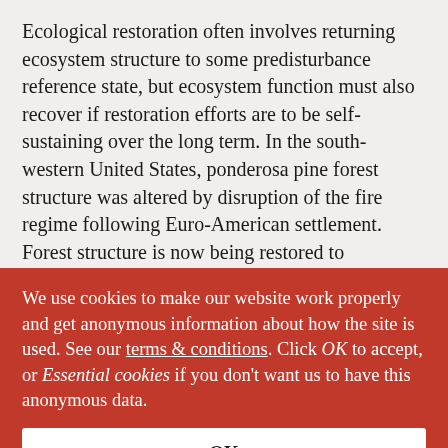Ecological restoration often involves returning ecosystem structure to some predisturbance reference state, but ecosystem function must also recover if restoration efforts are to be self-sustaining over the long term. In the south-western United States, ponderosa pine forest structure was altered by disruption of the fire regime following Euro-American settlement. Forest structure is now being restored to presettlement conditions through the application of thinning and burning treatments. However, the effects of these treatments on below-ground ecosystem processes remain unclear. We conducted a water and nitrogen (N) addition experiment in adjacent restored and
We use cookies to make our website work properly and get anonymous information about how the site is used. See our terms & conditions. Click OK to accept, or Essential cookies if you don't want us to have this anonymous data.
OK
Essential cookies